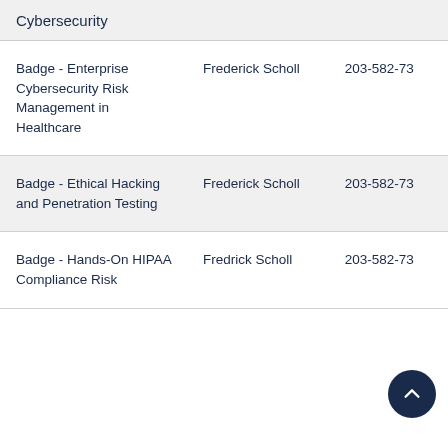Cybersecurity
| Course/Badge | Instructor | Phone |
| --- | --- | --- |
| Badge - Enterprise Cybersecurity Risk Management in Healthcare | Frederick Scholl | 203-582-73 |
| Badge - Ethical Hacking and Penetration Testing | Frederick Scholl | 203-582-73 |
| Badge - Hands-On HIPAA Compliance Risk Management | Fredrick Scholl | 203-582-73 |